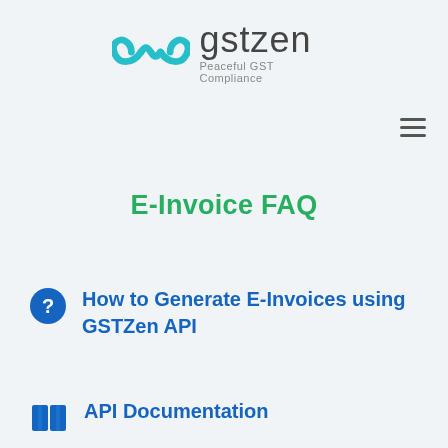[Figure (logo): GSTZen logo with teal infinity/cloud icon and 'gstzen Peaceful GST Compliance' text]
[Figure (other): Hamburger menu icon (three horizontal lines)]
E-Invoice FAQ
How to Generate E-Invoices using GSTZen API
API Documentation